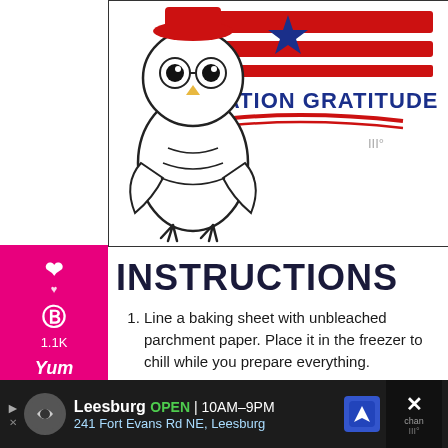[Figure (illustration): Operation Gratitude logo with cartoon owl wearing a hat next to American flag stripes and 'OPERATION GRATITUDE' text with a star and ribbon graphic.]
INSTRUCTIONS
Line a baking sheet with unbleached parchment paper. Place it in the freezer to chill while you prepare everything.
Wash and peel all of the mandarin oranges. Separate mandarins into segments. Set aside.
Chocolate Coating WITH Chocolate Chips:
In a small saucepan over medium-low heat, add chocolate chips, healthy fat of choice and
[Figure (other): Advertisement bar: Leesburg OPEN 10AM-9PM, 241 Fort Evans Rd NE, Leesburg]